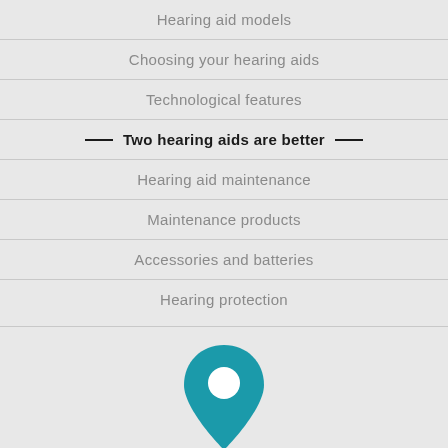Hearing aid models
Choosing your hearing aids
Technological features
Two hearing aids are better
Hearing aid maintenance
Maintenance products
Accessories and batteries
Hearing protection
[Figure (illustration): Teal location pin / map marker icon]